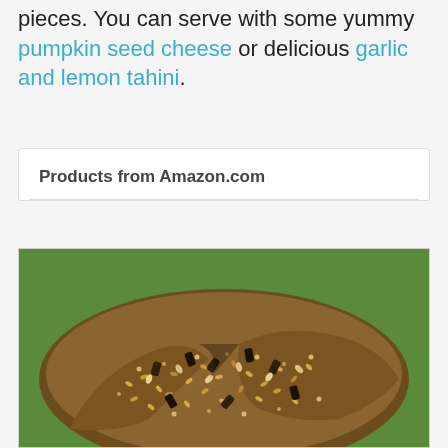pieces. You can serve with some yummy pumpkin seed cheese or delicious garlic and lemon tahini.
Products from Amazon.com
[Figure (photo): Close-up photo of seed crackers covered in mixed seeds (sesame, sunflower, pumpkin) in a glass dish on a green background]